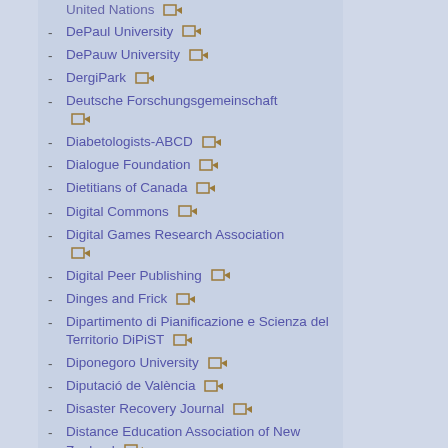DePaul University
DePauw University
DergiPark
Deutsche Forschungsgemeinschaft
Diabetologists-ABCD
Dialogue Foundation
Dietitians of Canada
Digital Commons
Digital Games Research Association
Digital Peer Publishing
Dinges and Frick
Dipartimento di Pianificazione e Scienza del Territorio DiPiST
Diponegoro University
Diputació de València
Disaster Recovery Journal
Distance Education Association of New Zealand
Distill Working Group